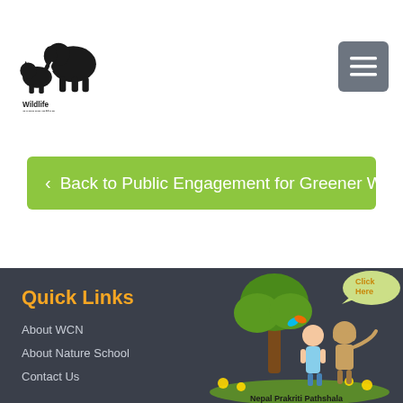[Figure (logo): Wildlife Conservation Nepal logo with rhinoceros and elephant silhouette]
[Figure (other): Dark grey hamburger menu button in top right corner]
< Back to Public Engagement for Greener World
Quick Links
About WCN
About Nature School
Contact Us
Contact Us
[Figure (illustration): Nepal Prakriti Pathshala illustration showing a girl and monkey character under a green tree with butterflies, and a speech bubble saying Click Here]